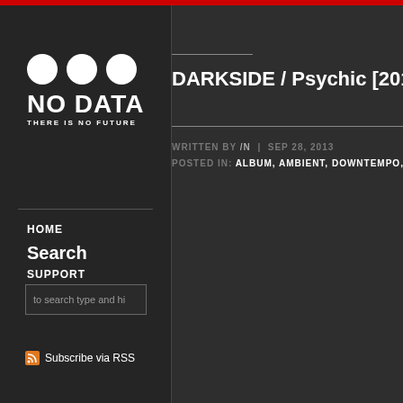[Figure (logo): NO DATA - THERE IS NO FUTURE logo with three white circles above bold white text]
HOME
Search
SUPPORT
to search type and hi
Subscribe via RSS
DARKSIDE / Psychic [2013
WRITTEN BY /N  |  SEP 28, 2013
POSTED IN: ALBUM, AMBIENT, DOWNTEMPO, E